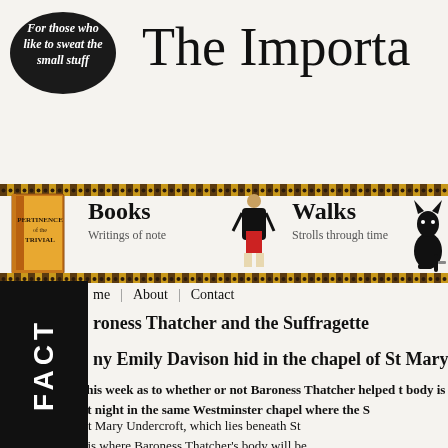[Figure (illustration): Oval black badge with white italic text reading 'For those who like to sweat the small stuff']
The Importa
[Figure (illustration): Decorative repeating border pattern in dark brown and gold]
[Figure (illustration): Book cover illustration for a book titled 'The Pertinence of the Trivial']
Books
Writings of note
[Figure (illustration): Illustrated figure of a person in red shorts and black jacket]
Walks
Strolls through time
[Figure (illustration): Black silhouette illustration of a cat sitting at a writing desk]
[Figure (illustration): Second decorative repeating border pattern]
me  |  About  |  Contact
[Figure (illustration): Black vertical sidebar label reading 'FACT']
roness Thatcher and the Suffragette
ny Emily Davison hid in the chapel of St Mary Under
Much debate this week as to whether or not Baroness Thatcher helped t body is to spend its last night in the same Westminster chapel where the S
The chapel of St Mary Undercroft, which lies beneath St Stephen's Hall, is where Baroness Thatcher's body will be moved to on Tuesday